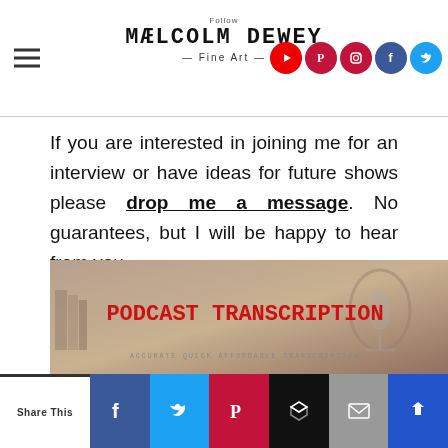Malcolm Dewey Fine Art — Follow — [social icons: YouTube, Pinterest, Instagram, Facebook, Twitter]
If you are interested in joining me for an interview or have ideas for future shows please drop me a message. No guarantees, but I will be happy to hear from you.
I hope you enjoy this concept and find a few useful and entertaining shows in the future.
[Figure (photo): Podcast Transcription banner image with a microphone in background, red text reading PODCAST TRANSCRIPTION]
Share This [Facebook] [Twitter] [Pinterest] [Buffer] [Email] [More]